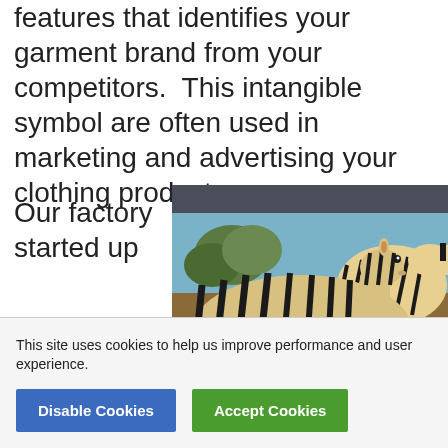features that identifies your garment brand from your competitors.  This intangible symbol are often used in marketing and advertising your clothing products.
Our factory started up
[Figure (photo): Close-up photograph of a woven textile or tapestry depicting two zebras in a savanna landscape with blue sky and brown earth tones.]
This site uses cookies to help us improve performance and user experience.
Disable Cookies
Accept Cookies